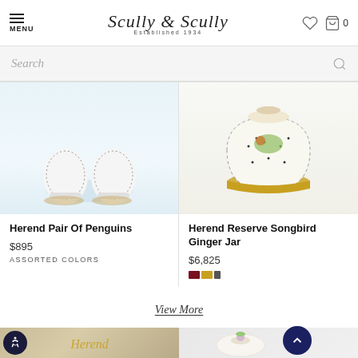Scully & Scully — Established 1934
Search
[Figure (photo): Herend Pair Of Penguins porcelain figurine, bottom view showing base]
Herend Pair Of Penguins
$895
ASSORTED COLORS
[Figure (photo): Herend Reserve Songbird Ginger Jar with decorative bird and floral pattern, gold base]
Herend Reserve Songbird Ginger Jar
$6,825
View More
[Figure (photo): Herend brand logo on fabric/textile background]
[Figure (photo): Herend decorative porcelain piece with floral motif and scroll-to-top button overlay]